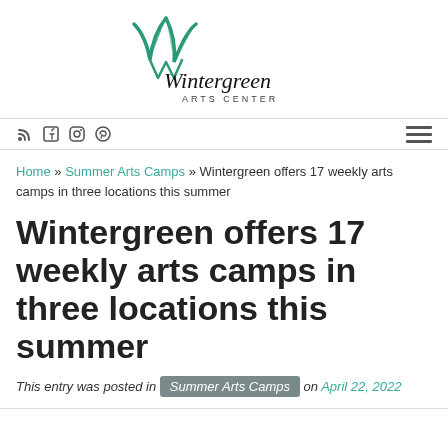[Figure (logo): Wintergreen Arts Center logo with green feather/leaf W lettermark and cursive/script text]
RSS Facebook Instagram Pinterest icons and hamburger menu
Home » Summer Arts Camps » Wintergreen offers 17 weekly arts camps in three locations this summer
Wintergreen offers 17 weekly arts camps in three locations this summer
This entry was posted in Summer Arts Camps on April 22, 2022